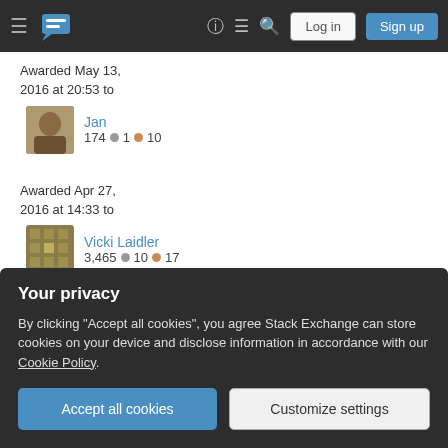Stack Exchange navigation bar with hamburger menu, logo, help, chat, search icons, Log in and Sign up buttons
Awarded May 13, 2016 at 20:53 to
Jan
174 • 1 • 10
Awarded Apr 27, 2016 at 14:33 to
Vicki Laidler
3,465 • 10 • 17
Awarded Feb 11, 2016 at 10:33 to
Daniel
Your privacy
By clicking "Accept all cookies", you agree Stack Exchange can store cookies on your device and disclose information in accordance with our Cookie Policy.